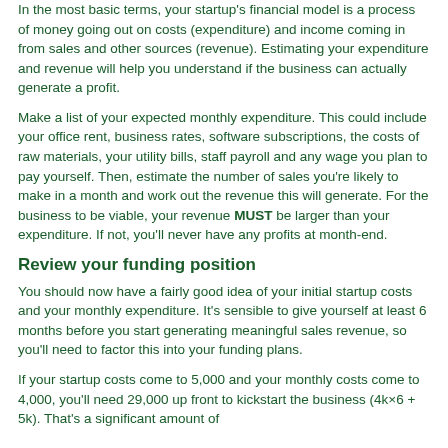In the most basic terms, your startup's financial model is a process of money going out on costs (expenditure) and income coming in from sales and other sources (revenue). Estimating your expenditure and revenue will help you understand if the business can actually generate a profit.
Make a list of your expected monthly expenditure. This could include your office rent, business rates, software subscriptions, the costs of raw materials, your utility bills, staff payroll and any wage you plan to pay yourself. Then, estimate the number of sales you're likely to make in a month and work out the revenue this will generate. For the business to be viable, your revenue MUST be larger than your expenditure. If not, you'll never have any profits at month-end.
Review your funding position
You should now have a fairly good idea of your initial startup costs and your monthly expenditure. It's sensible to give yourself at least 6 months before you start generating meaningful sales revenue, so you'll need to factor this into your funding plans.
If your startup costs come to 5,000 and your monthly costs come to 4,000, you'll need 29,000 up front to kickstart the business (4x6 + 5k). That's a significant amount of